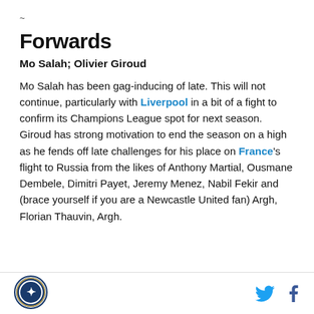~
Forwards
Mo Salah; Olivier Giroud
Mo Salah has been gag-inducing of late. This will not continue, particularly with Liverpool in a bit of a fight to confirm its Champions League spot for next season. Giroud has strong motivation to end the season on a high as he fends off late challenges for his place on France's flight to Russia from the likes of Anthony Martial, Ousmane Dembele, Dimitri Payet, Jeremy Menez, Nabil Fekir and (brace yourself if you are a Newcastle United fan) Argh, Florian Thauvin, Argh.
Logo | Twitter | Facebook